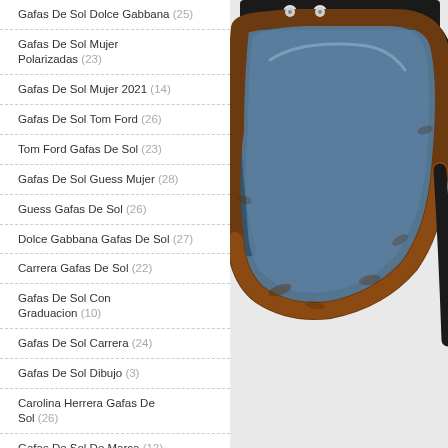Gafas De Sol Dolce Gabbana (25)
Gafas De Sol Mujer Polarizadas (23)
Gafas De Sol Mujer 2021 (14)
Gafas De Sol Tom Ford (26)
Tom Ford Gafas De Sol (23)
Gafas De Sol Guess Mujer (28)
Guess Gafas De Sol (26)
Dolce Gabbana Gafas De Sol (27)
Carrera Gafas De Sol (22)
Gafas De Sol Con Graduacion (10)
Gafas De Sol Carrera (24)
Gafas De Sol Dibujo (3)
Carolina Herrera Gafas De Sol (26)
Gafas De Sol De Marca (12)
Gafas De Sol Decathlon (20)
[Figure (photo): Product photo of a pair of sunglasses with dark tortoiseshell/brown frame and blue-gray lenses, shot on a light gray background.]